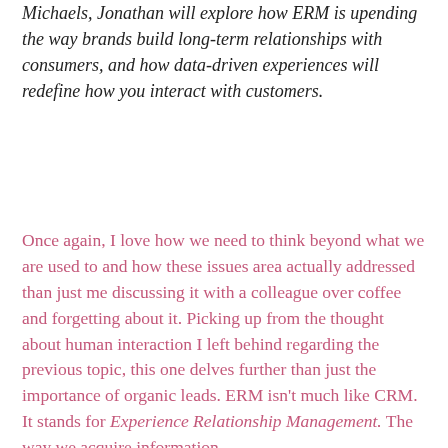Michaels, Jonathan will explore how ERM is upending the way brands build long-term relationships with consumers, and how data-driven experiences will redefine how you interact with customers.
Once again, I love how we need to think beyond what we are used to and how these issues area actually addressed than just me discussing it with a colleague over coffee and forgetting about it. Picking up from the thought about human interaction I left behind regarding the previous topic, this one delves further than just the importance of organic leads. ERM isn't much like CRM. It stands for Experience Relationship Management. The way we acquire information